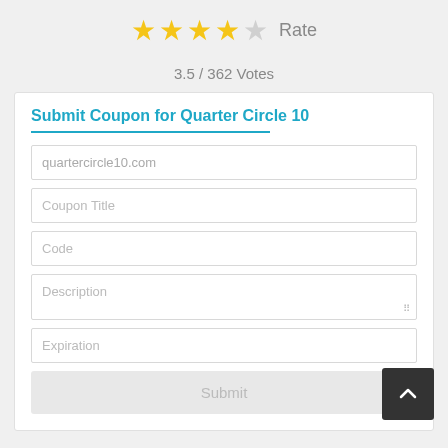[Figure (infographic): Star rating display: 4 filled gold stars and 1 empty/grey star, with a 'Rate' label]
3.5 / 362 Votes
Submit Coupon for Quarter Circle 10
quartercircle10.com
Coupon Title
Code
Description
Expiration
Submit
Quarter Circle 10 Stats
Total
Promo Codes	3
Deals	10
Max Discount	60%